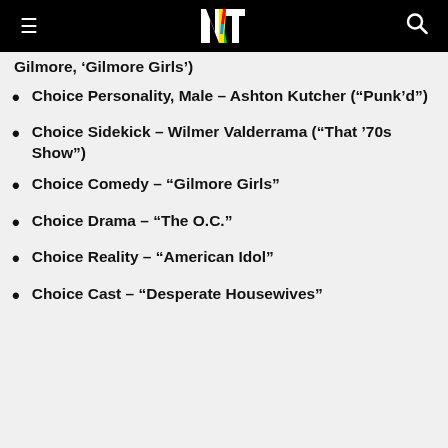MTV
Gilmore, ‘Gilmore Girls’)
Choice Personality, Male – Ashton Kutcher (“Punk’d”)
Choice Sidekick – Wilmer Valderrama (“That ‘70s Show”)
Choice Comedy – “Gilmore Girls”
Choice Drama – “The O.C.”
Choice Reality – “American Idol”
Choice Cast – “Desperate Housewives”